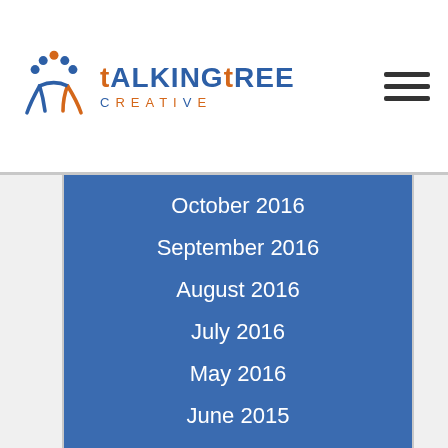[Figure (logo): Talking Tree Creative logo with stylized tree/people icon and text]
October 2016
September 2016
August 2016
July 2016
May 2016
June 2015
May 2015
April 2015
March 2015
February 2015
January 2015